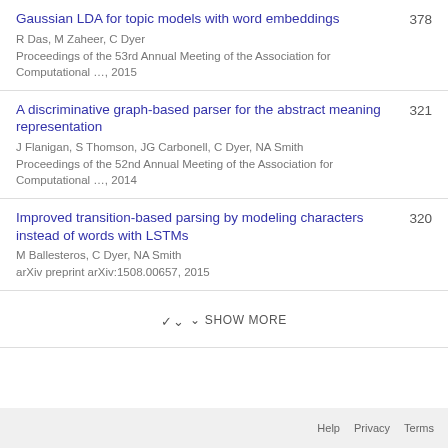Gaussian LDA for topic models with word embeddings
R Das, M Zaheer, C Dyer
Proceedings of the 53rd Annual Meeting of the Association for Computational …, 2015
378
A discriminative graph-based parser for the abstract meaning representation
J Flanigan, S Thomson, JG Carbonell, C Dyer, NA Smith
Proceedings of the 52nd Annual Meeting of the Association for Computational …, 2014
321
Improved transition-based parsing by modeling characters instead of words with LSTMs
M Ballesteros, C Dyer, NA Smith
arXiv preprint arXiv:1508.00657, 2015
320
SHOW MORE
Help  Privacy  Terms